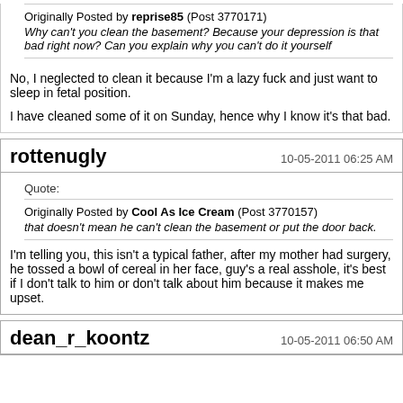Originally Posted by reprise85 (Post 3770171) Why can't you clean the basement? Because your depression is that bad right now? Can you explain why you can't do it yourself
No, I neglected to clean it because I'm a lazy fuck and just want to sleep in fetal position.

I have cleaned some of it on Sunday, hence why I know it's that bad.
rottenugly   10-05-2011 06:25 AM
Quote: Originally Posted by Cool As Ice Cream (Post 3770157) that doesn't mean he can't clean the basement or put the door back.
I'm telling you, this isn't a typical father, after my mother had surgery, he tossed a bowl of cereal in her face, guy's a real asshole, it's best if I don't talk to him or don't talk about him because it makes me upset.
dean_r_koontz   10-05-2011 06:50 AM